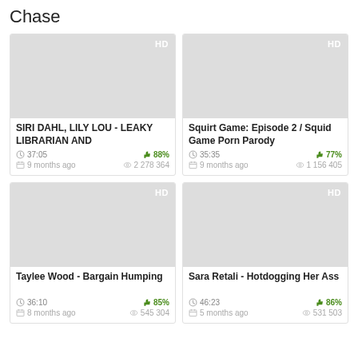Chase
[Figure (screenshot): Video thumbnail placeholder gray box with HD badge, top-left card]
SIRI DAHL, LILY LOU - LEAKY LIBRARIAN AND
37:05  88%
9 months ago  2 278 364
[Figure (screenshot): Video thumbnail placeholder gray box with HD badge, top-right card]
Squirt Game: Episode 2 / Squid Game Porn Parody
35:35  77%
9 months ago  1 156 405
[Figure (screenshot): Video thumbnail placeholder gray box with HD badge, bottom-left card]
Taylee Wood - Bargain Humping
36:10  85%
8 months ago  545 304
[Figure (screenshot): Video thumbnail placeholder gray box with HD badge, bottom-right card]
Sara Retali - Hotdogging Her Ass
46:23  86%
5 months ago  531 503